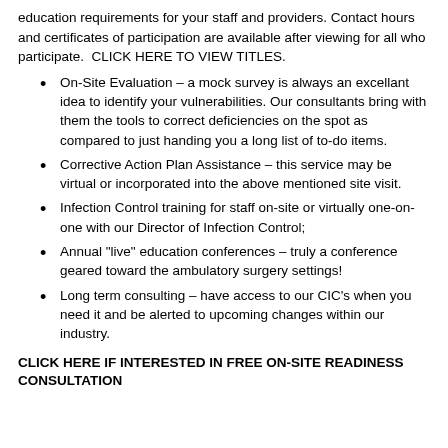education requirements for your staff and providers. Contact hours and certificates of participation are available after viewing for all who participate. CLICK HERE TO VIEW TITLES.
On-Site Evaluation – a mock survey is always an excellant idea to identify your vulnerabilities. Our consultants bring with them the tools to correct deficiencies on the spot as compared to just handing you a long list of to-do items.
Corrective Action Plan Assistance – this service may be virtual or incorporated into the above mentioned site visit.
Infection Control training for staff on-site or virtually one-on-one with our Director of Infection Control;
Annual "live" education conferences – truly a conference geared toward the ambulatory surgery settings!
Long term consulting – have access to our CIC's when you need it and be alerted to upcoming changes within our industry.
CLICK HERE IF INTERESTED IN FREE ON-SITE READINESS CONSULTATION